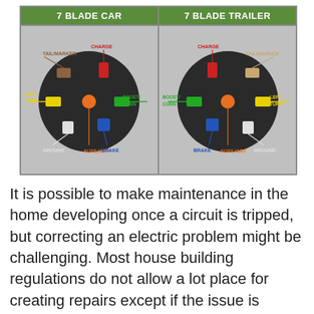[Figure (engineering-diagram): Two side-by-side 7-blade connector wiring diagrams: '7 BLADE CAR' on the left and '7 BLADE TRAILER' on the right. Each shows a circular connector face with colored rectangular pins labeled: TAIL/MARKER (brown), CHARGE (red), LEFT TURN (yellow), GROUND (white), BRAKE (blue), AUXILIARY (orange), and green center pin labeled BOOST/CONN. The trailer diagram mirrors the car diagram.]
It is possible to make maintenance in the home developing once a circuit is tripped, but correcting an electric problem might be challenging. Most house building regulations do not allow a lot place for creating repairs except if the issue is extremely exclusive. As an alternative, it is best to contact a qualified electrician to come and be sure